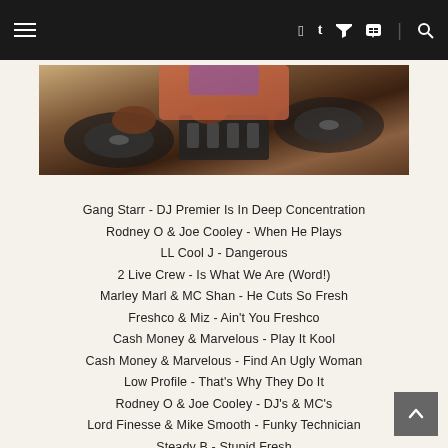Navigation bar with hamburger menu and social icons (facebook, twitter, rss, search)
[Figure (photo): A DJ working with turntables and a mixer, hands visible on vinyl records and equipment, sepia/brown toned photograph]
Gang Starr - DJ Premier Is In Deep Concentration
Rodney O & Joe Cooley - When He Plays
LL Cool J - Dangerous
2 Live Crew - Is What We Are (Word!)
Marley Marl & MC Shan - He Cuts So Fresh
Freshco & Miz - Ain't You Freshco
Cash Money & Marvelous - Play It Kool
Cash Money & Marvelous - Find An Ugly Woman
Low Profile - That's Why They Do It
Rodney O & Joe Cooley - DJ's & MC's
Lord Finesse & Mike Smooth - Funky Technician
Steady B - Stupid Fresh
Gang Starr - Manifest